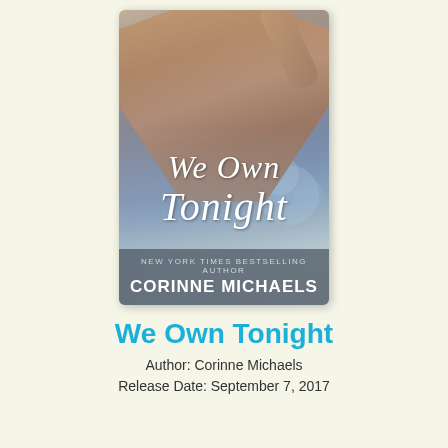[Figure (illustration): Book cover for 'We Own Tonight' by Corinne Michaels. Shows a shirtless male torso with one arm raised behind head, script title text 'We Own Tonight' overlaid in white italic font on the lower half of the cover, and author name 'CORINNE MICHAELS' with 'NEW YORK TIMES BESTSELLING AUTHOR' in a dark banner at the bottom.]
We Own Tonight
Author: Corinne Michaels
Release Date: September 7, 2017